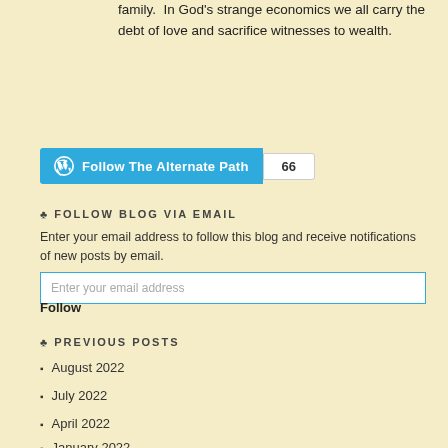family.  In God's strange economics we all carry the debt of love and sacrifice witnesses to wealth.
[Figure (other): WordPress Follow The Alternate Path button with follower count 66]
♣ FOLLOW BLOG VIA EMAIL
Enter your email address to follow this blog and receive notifications of new posts by email.
Enter your email address
Follow
♣ PREVIOUS POSTS
August 2022
July 2022
April 2022
January 2022